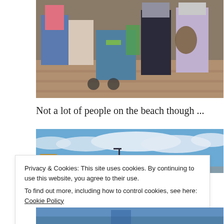[Figure (photo): Outdoor photo of a group of people standing on a brick pavement, several with strollers and bags, appearing to be at a market or seaside area]
Not a lot of people on the beach though ...
[Figure (photo): Panoramic beach photo with blue sky and white clouds, a small yellow building visible on the left, near a seaside promenade]
Privacy & Cookies: This site uses cookies. By continuing to use this website, you agree to their use.
To find out more, including how to control cookies, see here: Cookie Policy
[Figure (photo): Partial bottom strip photo showing beach/seaside area]